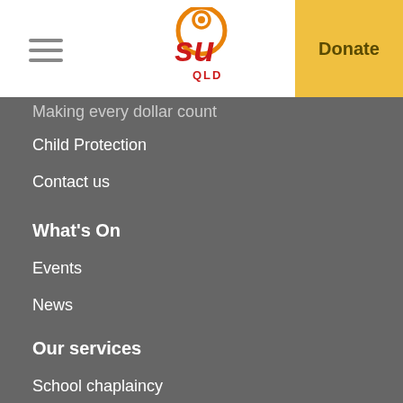[Figure (logo): SU QLD logo - red SU letters with orange circular design above, QLD text below in red]
Donate
Making every dollar count
Child Protection
Contact us
What's On
Events
News
Our services
School chaplaincy
Camps
Community
Training
Sports
Community Events
Partner with us